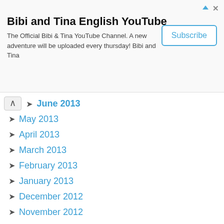[Figure (screenshot): YouTube channel advertisement banner for Bibi and Tina English YouTube channel with Subscribe button]
Bibi and Tina English YouTube
The Official Bibi & Tina YouTube Channel. A new adventure will be uploaded every thursday! Bibi and Tina
June 2013
May 2013
April 2013
March 2013
February 2013
January 2013
December 2012
November 2012
October 2012
September 2012
August 2012
July 2012